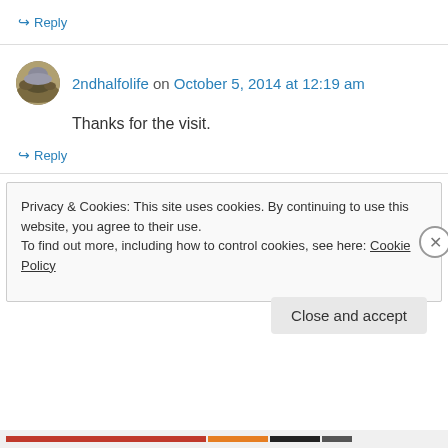↪ Reply
2ndhalfolife on October 5, 2014 at 12:19 am
Thanks for the visit.
↪ Reply
Privacy & Cookies: This site uses cookies. By continuing to use this website, you agree to their use. To find out more, including how to control cookies, see here: Cookie Policy
Close and accept